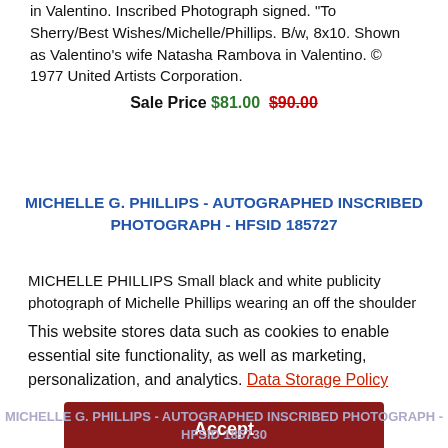in Valentino. Inscribed Photograph signed. "To Sherry/Best Wishes/Michelle/Phillips. B/w, 8x10. Shown as Valentino's wife Natasha Rambova in Valentino. © 1977 United Artists Corporation.
Sale Price $81.00  $90.00
MICHELLE G. PHILLIPS - AUTOGRAPHED INSCRIBED PHOTOGRAPH - HFSID 185727
MICHELLE PHILLIPS Small black and white publicity photograph of Michelle Phillips wearing an off the shoulder top. Photograph signed. "MichellePhillips" Inscribed in
This website stores data such as cookies to enable essential site functionality, as well as marketing, personalization, and analytics. Data Storage Policy
Accept
Deny
MICHELLE G. PHILLIPS - AUTOGRAPHED INSCRIBED PHOTOGRAPH - HFSID 185730